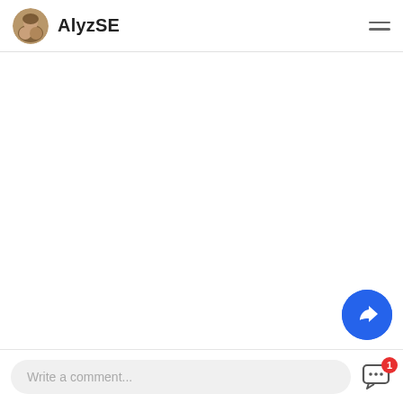AlyzSE
[Figure (screenshot): Blank white content area of a website or blog]
[Figure (other): Blue circular share/reply FAB button with white arrow icon]
Write a comment...
[Figure (other): Chat/message icon with red notification badge showing count 1]